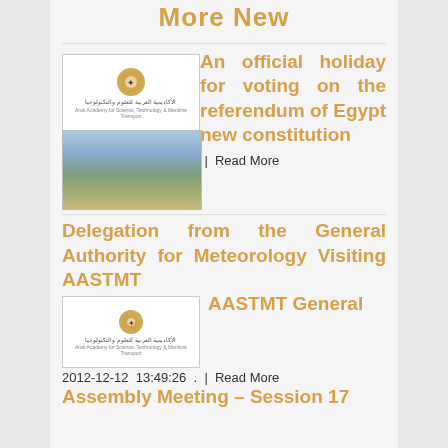More New
[Figure (logo): AASTMT logo with Arabic text and English subtitle]
An official holiday for voting on the referendum of Egypt new constitution
[Figure (photo): Building/campus photo thumbnail]
2012-12-13  10:21:36  .  |  Read More
Delegation from the General Authority for Meteorology Visiting AASTMT
[Figure (logo): AASTMT logo thumbnail]
2012-12-12  13:49:26  .  |  Read More
AASTMT General Assembly Meeting – Session 17